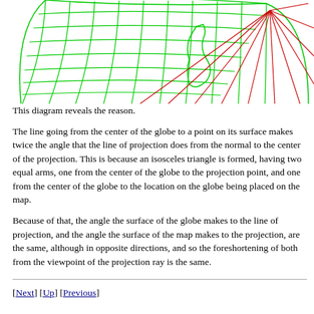[Figure (illustration): Partial globe diagram showing green grid lines on the globe surface and red projection lines radiating from a point on the right side, illustrating the geometry of stereographic projection. The globe is shown as a partial sphere with grid lines in green, and the projection rays are shown in red converging from the globe surface to a point.]
This diagram reveals the reason.
The line going from the center of the globe to a point on its surface makes twice the angle that the line of projection does from the normal to the center of the projection. This is because an isosceles triangle is formed, having two equal arms, one from the center of the globe to the projection point, and one from the center of the globe to the location on the globe being placed on the map.
Because of that, the angle the surface of the globe makes to the line of projection, and the angle the surface of the map makes to the projection, are the same, although in opposite directions, and so the foreshortening of both from the viewpoint of the projection ray is the same.
[Next] [Up] [Previous]